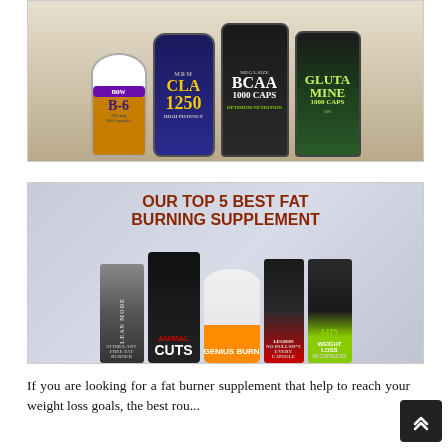[Figure (photo): Photo of dietary supplement bottles on a granite countertop: Now B-6, MRM CLA 1250, Optimum Nutrition BCAA 1000 Caps, Optimum Nutrition Glutamine 1000 Caps]
[Figure (photo): Promotional graphic titled 'OUR TOP 5 BEST FAT BURNING SUPPLEMENT' showing product lineup: Lean Mode, Animal Cuts, Genius Burn, Legion Burn, Cellucor HD Weight Loss supplements]
If you are looking for a fat burner supplement that help to reach your weight loss goals, the best rou... back b... ld b... b... s... i...